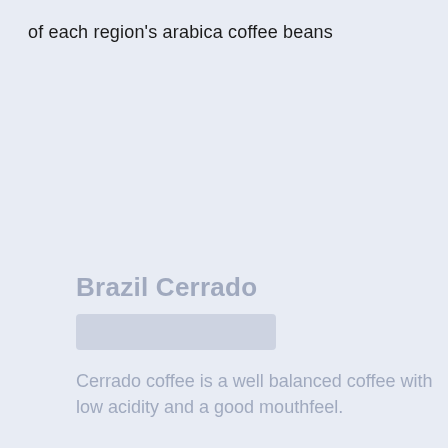of each region's arabica coffee beans
Brazil Cerrado
[Figure (other): Tag/label bar placeholder for Brazil Cerrado]
Cerrado coffee is a well balanced coffee with low acidity and a good mouthfeel.
It has caramel notes when lightly roasted but becomes chocolatey when it is dark roasted.